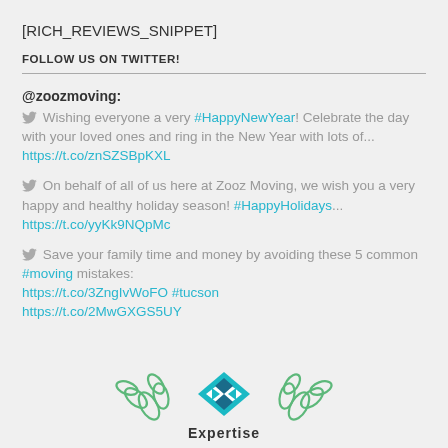[RICH_REVIEWS_SNIPPET]
FOLLOW US ON TWITTER!
@zoozmoving: 🐦 Wishing everyone a very #HappyNewYear! Celebrate the day with your loved ones and ring in the New Year with lots of... https://t.co/znSZSBpKXL
🐦 On behalf of all of us here at Zooz Moving, we wish you a very happy and healthy holiday season! #HappyHolidays... https://t.co/yyKk9NQpMc
🐦 Save your family time and money by avoiding these 5 common #moving mistakes: https://t.co/3ZngIvWoFO #tucson https://t.co/2MwGXGS5UY
[Figure (logo): Expertise badge logo with teal diamond pattern and laurel leaves]